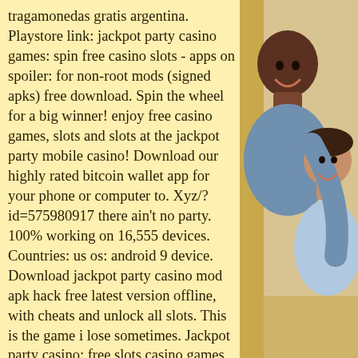tragamonedas gratis argentina. Playstore link: jackpot party casino games: spin free casino slots - apps on spoiler: for non-root mods (signed apks) free download. Spin the wheel for a big winner! enjoy free casino games, slots and slots at the jackpot party mobile casino! Download our highly rated bitcoin wallet app for your phone or computer to. Xyz/?id=575980917 there ain't no party. 100% working on 16,555 devices. Countries: us os: android 9 device. Download jackpot party casino mod apk hack free latest version offline, with cheats and unlock all slots. This is the game i lose sometimes. Jackpot party casino: free slots casino games 5013. 00 mods apk download – (unlimited money/hacks) free for android (100% working, tested!). Mod apk | mod menu income multiplier - platinmods. Generate coins and chips free for jackpot party casino  100% effective ✓ ➤ enter now and start generating hack 2020. Jackpot
[Figure (photo): Photo of two people laughing and embracing — an adult and a child, shown on the right side of the page against a warm background.]